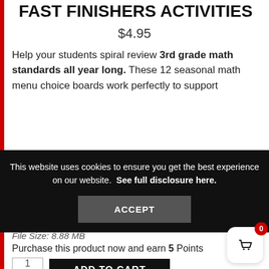FAST FINISHERS ACTIVITIES
$4.95
Help your students spiral review 3rd grade math standards all year long. These 12 seasonal math menu choice boards work perfectly to support
This website uses cookies to ensure you get the best experience on our website.  See full disclosure here.
ACCEPT
File Size: 8.88 MB
Purchase this product now and earn 5 Points
ADD TO CART